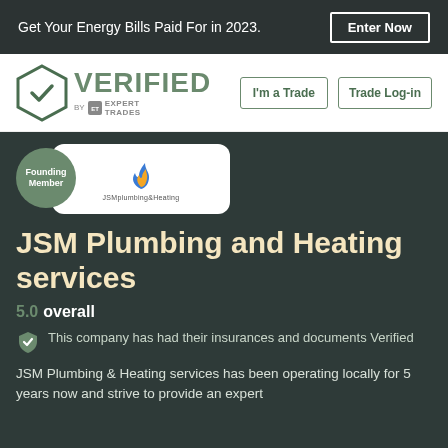Get Your Energy Bills Paid For in 2023. Enter Now
[Figure (logo): Verified by Expert Trades logo with hexagon checkmark and navigation buttons 'I'm a Trade' and 'Trade Log-in']
[Figure (logo): JSM Plumbing and Heating services company logo card with founding member badge]
JSM Plumbing and Heating services
5.0 overall
This company has had their insurances and documents Verified
JSM Plumbing & Heating services has been operating locally for 5 years now and strive to provide an expert